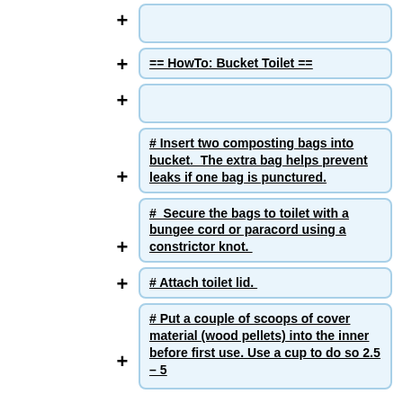== HowTo: Bucket Toilet ==
# Insert two composting bags into bucket.  The extra bag helps prevent leaks if one bag is punctured.
# Secure the bags to toilet with a bungee cord or paracord using a constrictor knot.
# Attach toilet lid.
# Put a couple of scoops of cover material (wood pellets) into the inner before first use. Use a cup to do so 2.5 – 5...